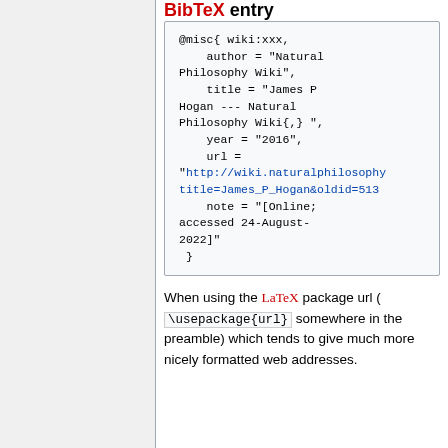BibTeX entry
@misc{ wiki:xxx,
    author = "Natural Philosophy Wiki",
    title = "James P Hogan --- Natural Philosophy Wiki{,} ",
    year = "2016",
    url = "http://wiki.naturalphilosophy...title=James_P_Hogan&oldid=513...
    note = "[Online; accessed 24-August-2022]"
 }
When using the LaTeX package url ( \usepackage{url} somewhere in the preamble) which tends to give much more nicely formatted web addresses.